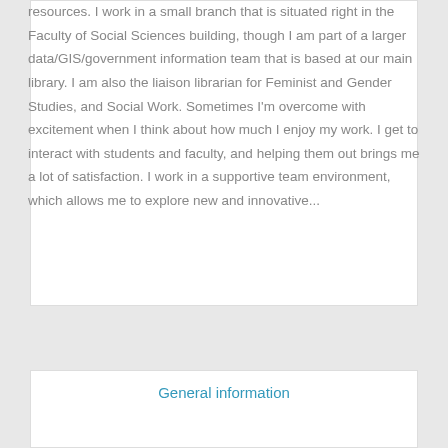resources. I work in a small branch that is situated right in the Faculty of Social Sciences building, though I am part of a larger data/GIS/government information team that is based at our main library. I am also the liaison librarian for Feminist and Gender Studies, and Social Work. Sometimes I'm overcome with excitement when I think about how much I enjoy my work. I get to interact with students and faculty, and helping them out brings me a lot of satisfaction. I work in a supportive team environment, which allows me to explore new and innovative...
Continue Reading
General information